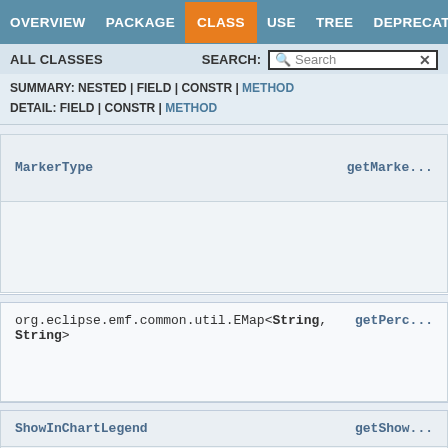OVERVIEW | PACKAGE | CLASS | USE | TREE | DEPRECATED
ALL CLASSES    SEARCH: [Search]
SUMMARY: NESTED | FIELD | CONSTR | METHOD
DETAIL: FIELD | CONSTR | METHOD
| MarkerType | getMarke... |
| --- | --- |
| org.eclipse.emf.common.util.EMap<String, String> | getPerc... |
| --- | --- |
| ShowInChartLegend | getShow... |
| --- | --- |